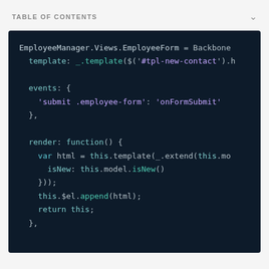TABLE OF CONTENTS
[Figure (screenshot): Dark-themed code editor screenshot showing JavaScript/Backbone.js code for EmployeeManager.Views.EmployeeForm with template, events, and render function definitions.]